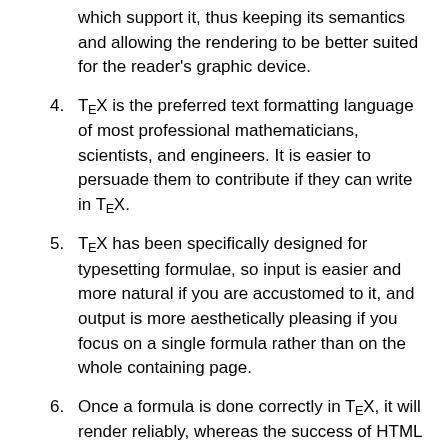(continuation) which support it, thus keeping its semantics and allowing the rendering to be better suited for the reader's graphic device.
4. TeX is the preferred text formatting language of most professional mathematicians, scientists, and engineers. It is easier to persuade them to contribute if they can write in TeX.
5. TeX has been specifically designed for typesetting formulae, so input is easier and more natural if you are accustomed to it, and output is more aesthetically pleasing if you focus on a single formula rather than on the whole containing page.
6. Once a formula is done correctly in TeX, it will render reliably, whereas the success of HTML formulae is somewhat dependent on browsers or versions of